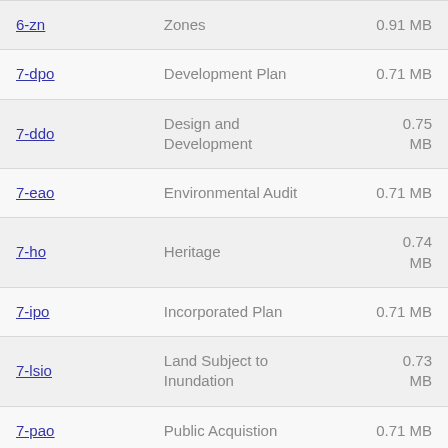| 6-zn | Zones | 0.91 MB |
| 7-dpo | Development Plan | 0.71 MB |
| 7-ddo | Design and Development | 0.75 MB |
| 7-eao | Environmental Audit | 0.71 MB |
| 7-ho | Heritage | 0.74 MB |
| 7-ipo | Incorporated Plan | 0.71 MB |
| 7-lsio | Land Subject to Inundation | 0.73 MB |
| 7-pao | Public Acquistion | 0.71 MB |